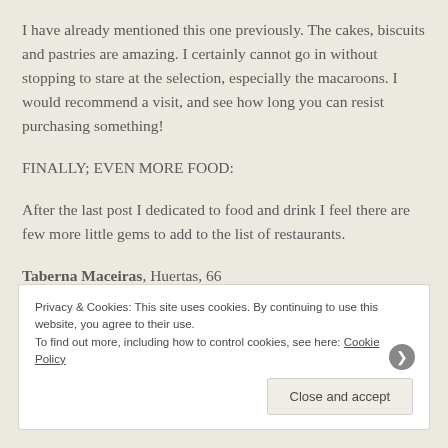I have already mentioned this one previously. The cakes, biscuits and pastries are amazing. I certainly cannot go in without stopping to stare at the selection, especially the macaroons. I would recommend a visit, and see how long you can resist purchasing something!
FINALLY; EVEN MORE FOOD:
After the last post I dedicated to food and drink I feel there are few more little gems to add to the list of restaurants.
Taberna Maceiras, Huertas, 66
Privacy & Cookies: This site uses cookies. By continuing to use this website, you agree to their use.
To find out more, including how to control cookies, see here: Cookie Policy
Close and accept